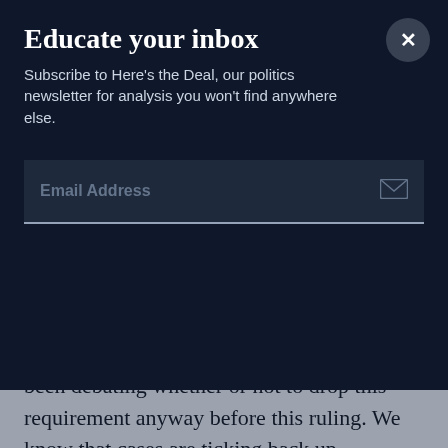Educate your inbox
Subscribe to Here's the Deal, our politics newsletter for analysis you won't find anywhere else.
Email Address
want to wear masks can still wear masks. That's not an issue.
But on a public health level, the CDC had been debating whether or not to drop this requirement anyway before this ruling. We know that cases are ticking back up somewhat. What is your sense as to how much this really will matter as far as keeping people safe?